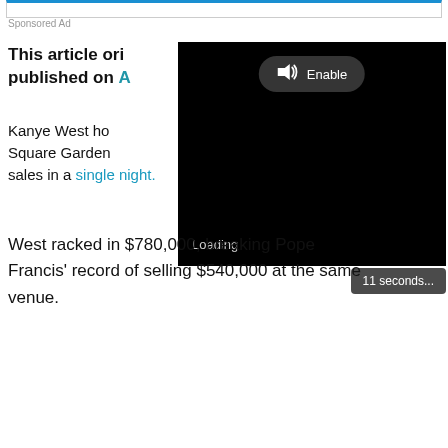Sponsored Ad
This article originally published on A[link]
Kanye West ho[sted a show at Madison] Square Garden[...] sales in a single night.
[Figure (screenshot): Black video player overlay with 'Enable' audio button and 'Loading' text, showing '11 seconds...' countdown badge]
West racked in $780,000, breaking Pope Francis' record of selling $540,000 at the same venue.